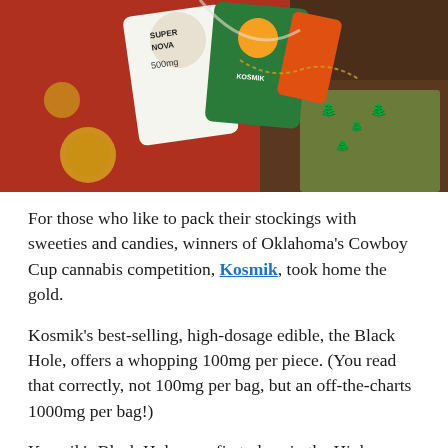[Figure (photo): Overhead photo of cannabis-related products including Super Nova 500mg packaging and Kosmik branded bags arranged on a red surface with Christmas ornaments and holiday wrapping.]
For those who like to pack their stockings with sweeties and candies, winners of Oklahoma's Cowboy Cup cannabis competition, Kosmik, took home the gold.
Kosmik's best-selling, high-dosage edible, the Black Hole, offers a whopping 100mg per piece. (You read that correctly, not 100mg per bag, but an off-the-charts 1000mg per bag!)
Kosmik's Black Hole won first place in the High Dosage category.
Moments later, Kosmik won third place in the Hard and Soft Candies category with its crazy delicious